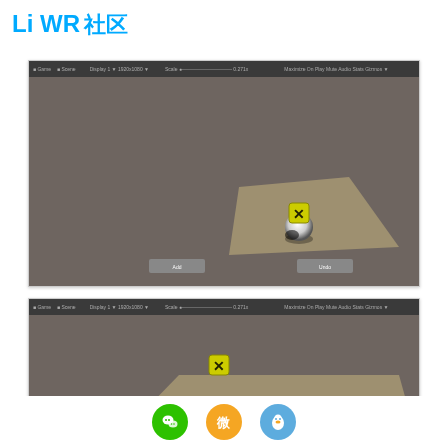LiWR 社区
[Figure (screenshot): Unity Game/Scene editor screenshot showing a 3D viewport with a grey-brown ground plane, a sphere object with a yellow X marker above it, and two small UI button elements at the bottom left and right]
[Figure (screenshot): Unity Game/Scene editor screenshot (partial) showing same 3D environment from a different angle, with a tan/khaki ground plane and yellow X marker visible at center]
[Figure (other): Social sharing icons: WeChat (green circle), Weibo (orange/yellow circle), QQ (blue circle)]